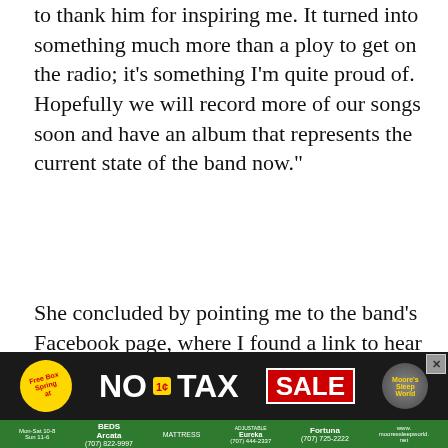to thank him for inspiring me. It turned into something much more than a ploy to get on the radio; it's something I'm quite proud of. Hopefully we will record more of our songs soon and have an album that represents the current state of the band now."
She concluded by pointing me to the band's Facebook page, where I found a link to hear her song. (You can buy it for a dollar.) There's not a hint of that plastic hit "Friday," which I'm guessing is the weekend song Larry was riffing on. It's organic and surprisingly plaintive, nice and easy. "Maybe it'll be grand," she sings guilelessly. Grand indeed.
If you know anything about kiwi indie rock, you know that Dead Kil...
[Figure (infographic): Advertisement banner for Moore's Sleep World featuring 'Free Box Spring', 'NO TAX SALE' promotion in black and green, with store locations in Arcata, Eureka, Fortuna and website mooressleepworld.net]